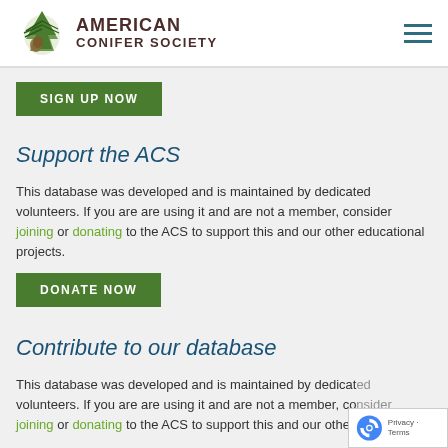AMERICAN CONIFER SOCIETY
SIGN UP NOW
Support the ACS
This database was developed and is maintained by dedicated volunteers. If you are are using it and are not a member, consider joining or donating to the ACS to support this and our other educational projects.
DONATE NOW
Contribute to our database
This database was developed and is maintained by dedicated volunteers. If you are are using it and are not a member, consider joining or donating to the ACS to support this and our other